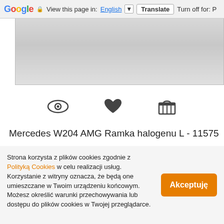Google  View this page in: English [▼]  Translate  Turn off for: P
[Figure (photo): Close-up photo of a beige/grey surface, likely car halogen frame part]
[Figure (infographic): Three icons: eye (view), heart (favourite), basket (cart)]
Mercedes W204 AMG Ramka halogenu L - 11575
120.00 zł
Strona korzysta z plików cookies zgodnie z Polityką Cookies w celu realizacji usług. Korzystanie z witryny oznacza, że będą one umieszczane w Twoim urządzeniu końcowym. Możesz określić warunki przechowywania lub dostępu do plików cookies w Twojej przeglądarce.